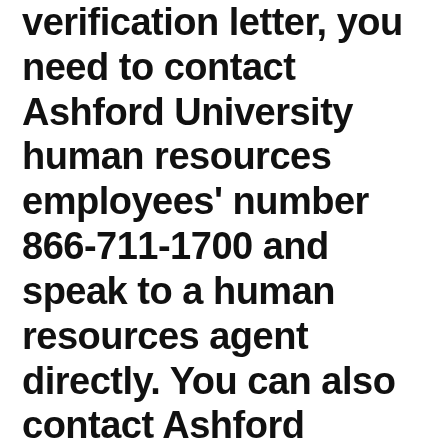verification letter, you need to contact Ashford University human resources employees' number 866-711-1700 and speak to a human resources agent directly. You can also contact Ashford University human resources, located at 905 Hampshire, St. Louis Park, MN, United States